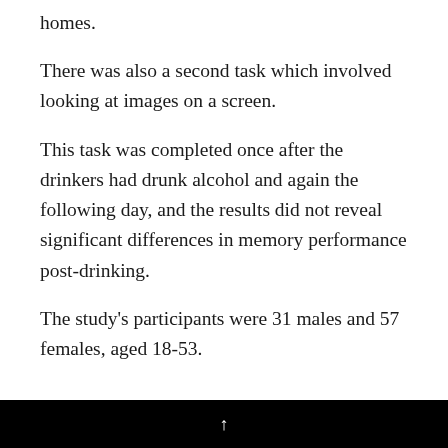homes.
There was also a second task which involved looking at images on a screen.
This task was completed once after the drinkers had drunk alcohol and again the following day, and the results did not reveal significant differences in memory performance post-drinking.
The study's participants were 31 males and 57 females, aged 18-53.
↑